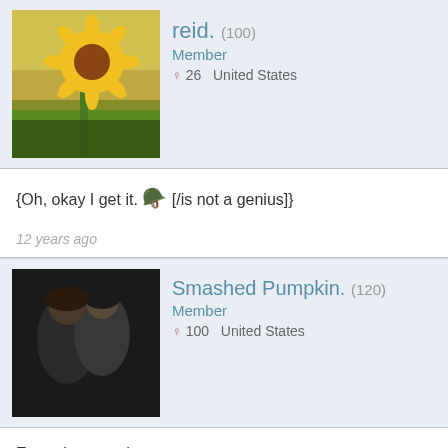[Figure (photo): Sunflower avatar for user reid.]
reid. (100)
Member
♀ 26  United States
{Oh, okay I get it. 🎓 [/is not a genius]}
12 years ago
[Figure (photo): Close-up couple photo avatar for user Smashed Pumpkin.]
Smashed Pumpkin. (120)
Member
♀ 100  United States
Ego - the saturdays
12 years ago
[Figure (photo): Colorful spark/firework avatar for user mako]
mako (100)
Member
♀ 27  United States